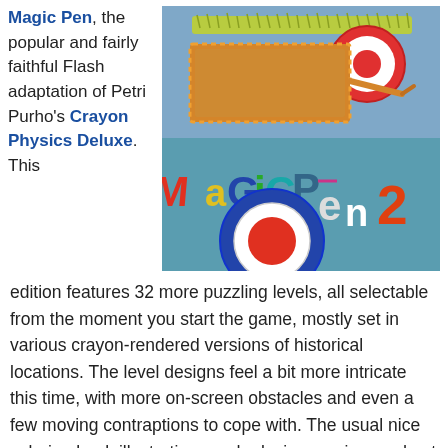Magic Pen, the popular and fairly faithful Flash adaptation of Petri Purho's Crayon Physics Deluxe. This edition features 32 more puzzling levels, all selectable from the moment you start the game, mostly set in various crayon-rendered versions of historical locations. The level designs feel a bit more intricate this time, with more on-screen obstacles and even a few moving contraptions to cope with. The usual nice coloring book illustrations and relaxing music round out the package.
[Figure (illustration): Screenshot of Magic Pen 2 game showing crayon-drawn physics puzzle elements on a blue background, with colorful lettering spelling MaGiCPen2 and a bullseye target.]